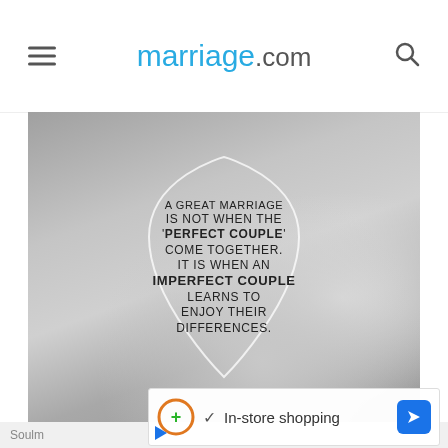marriage.com
[Figure (photo): Black and white photo of two hands forming a heart shape, with an inspirational marriage quote overlaid. White shield/badge outline decorates the text area. Quote reads: A GREAT MARRIAGE IS NOT WHEN THE 'PERFECT COUPLE' COME TOGETHER. IT IS WHEN AN IMPERFECT COUPLE LEARNS TO ENJOY THEIR DIFFERENCES.]
Soulmatch
A great...
In-store shopping